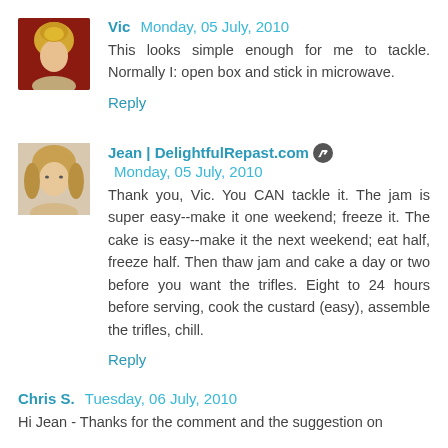Vic  Monday, 05 July, 2010
This looks simple enough for me to tackle. Normally I: open box and stick in microwave.
Reply
[Figure (photo): Avatar photo of commenter Vic - blonde hair updo]
Jean | DelightfulRepast.com  Monday, 05 July, 2010
Thank you, Vic. You CAN tackle it. The jam is super easy--make it one weekend; freeze it. The cake is easy--make it the next weekend; eat half, freeze half. Then thaw jam and cake a day or two before you want the trifles. Eight to 24 hours before serving, cook the custard (easy), assemble the trifles, chill.
Reply
[Figure (photo): Avatar photo of Jean - blonde woman]
Chris S.  Tuesday, 06 July, 2010
Hi Jean - Thanks for the comment and the suggestion on